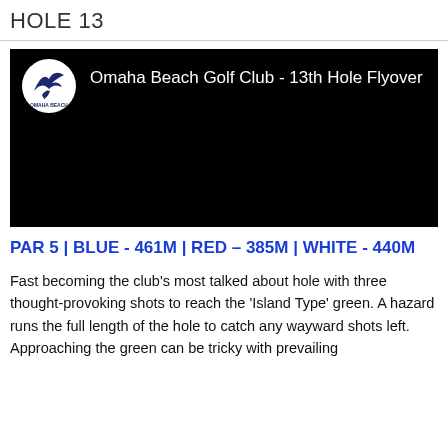HOLE 13
[Figure (screenshot): Black video thumbnail for Omaha Beach Golf Club - 13th Hole Flyover, with club logo (white circle with bird logo) on top left and white title text.]
PAR 5 | BLUE - 461M | RED – 385M | WHITE - 440M
Fast becoming the club's most talked about hole with three thought-provoking shots to reach the 'Island Type' green. A hazard runs the full length of the hole to catch any wayward shots left. Approaching the green can be tricky with prevailing